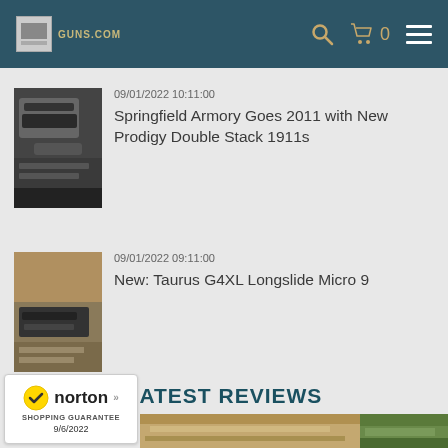Guns.com
09/01/2022 10:11:00
Springfield Armory Goes 2011 with New Prodigy Double Stack 1911s
09/01/2022 09:11:00
New: Taurus G4XL Longslide Micro 9
LATEST REVIEWS
[Figure (photo): Norton Shopping Guarantee badge dated 9/6/2022]
[Figure (photo): Wood surface for latest reviews section]
[Figure (photo): Green outdoor background for latest reviews section]